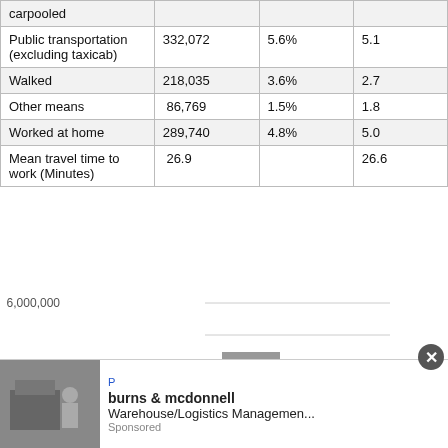| carpooled |  |  |  |
| Public transportation (excluding taxicab) | 332,072 | 5.6% | 5.1 |
| Walked | 218,035 | 3.6% | 2.7 |
| Other means | 86,769 | 1.5% | 1.8 |
| Worked at home | 289,740 | 4.8% | 5.0 |
| Mean travel time to work (Minutes) | 26.9 |  | 26.6 |
[Figure (bar-chart): Bar chart showing a single bar around 4,500,000 with y-axis labels at 2,000,000, 4,000,000, 6,000,000]